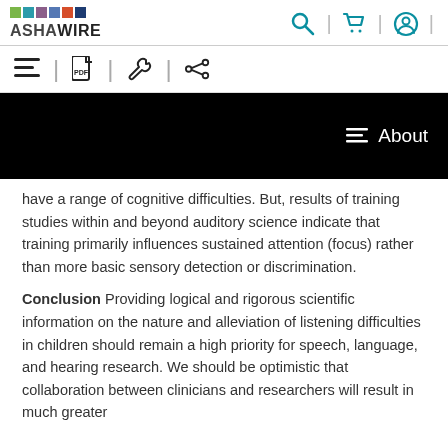ASHAWIRE
[Figure (screenshot): ASHAWIRE website header with colorful grid logo, search, cart, and user icons]
[Figure (screenshot): Website toolbar with hamburger menu, PDF icon, settings/wrench icon, and share icon]
[Figure (screenshot): Black banner with 'About' button on right side]
have a range of cognitive difficulties. But, results of training studies within and beyond auditory science indicate that training primarily influences sustained attention (focus) rather than more basic sensory detection or discrimination.
Conclusion Providing logical and rigorous scientific information on the nature and alleviation of listening difficulties in children should remain a high priority for speech, language, and hearing research. We should be optimistic that collaboration between clinicians and researchers will result in much greater